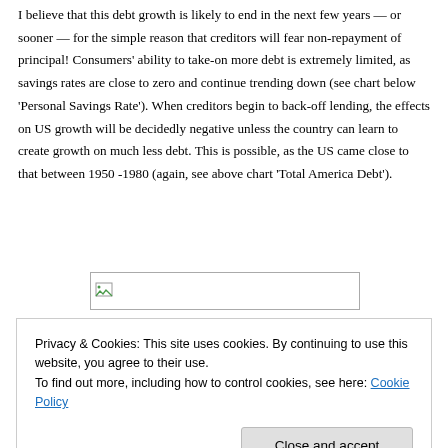I believe that this debt growth is likely to end in the next few years — or sooner — for the simple reason that creditors will fear non-repayment of principal! Consumers' ability to take-on more debt is extremely limited, as savings rates are close to zero and continue trending down (see chart below 'Personal Savings Rate'). When creditors begin to back-off lending, the effects on US growth will be decidedly negative unless the country can learn to create growth on much less debt. This is possible, as the US came close to that between 1950 -1980 (again, see above chart 'Total America Debt').
[Figure (other): Broken image placeholder with small image icon, representing an embedded chart (Personal Savings Rate)]
Privacy & Cookies: This site uses cookies. By continuing to use this website, you agree to their use.
To find out more, including how to control cookies, see here: Cookie Policy